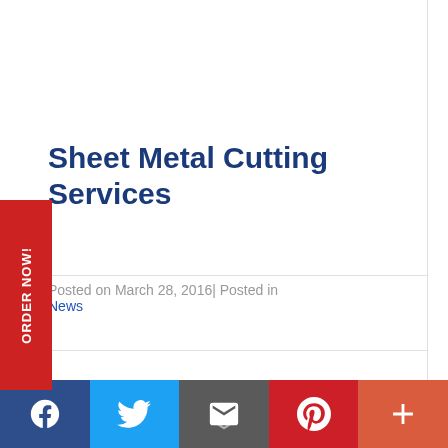Sheet Metal Cutting Services
Posted on March 28, 2016| Posted in News